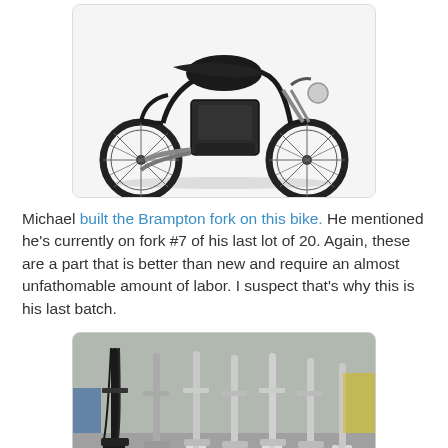[Figure (photo): Vintage black motorcycle (Vincent Black Shadow style) on white background, side profile view showing full bike with spoked wheels, chrome exhaust, and dark engine.]
Michael built the Brampton fork on this bike. He mentioned he's currently on fork #7 of his last lot of 20. Again, these are a part that is better than new and require an almost unfathomable amount of labor. I suspect that's why this is his last batch.
[Figure (photo): Several motorcycle front forks standing upright in a row in a workshop/garage, ranging from black to bare metal/chrome finish, showing progressive stages of completion.]